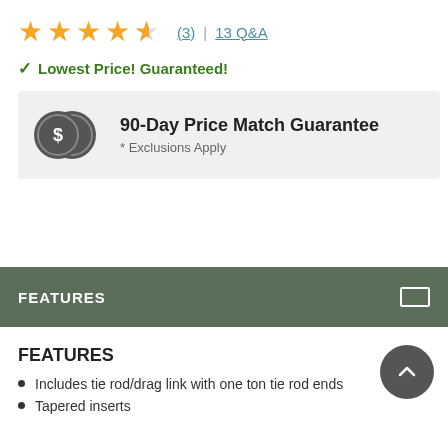[Figure (other): 4.5 star rating with (3) reviews link and 13 Q&A link]
✓ Lowest Price! Guaranteed!
[Figure (infographic): 90-Day Price Match Guarantee badge with two dollar coin icons and text '* Exclusions Apply']
FEATURES
FEATURES
Includes tie rod/drag link with one ton tie rod ends
Tapered inserts